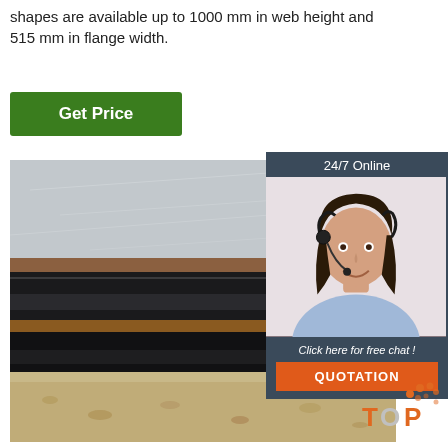shapes are available up to 1000 mm in web height and 515 mm in flange width.
[Figure (other): Green 'Get Price' button]
[Figure (photo): Stack of steel plates/structural steel sections photographed close-up]
[Figure (other): 24/7 Online chat widget with female customer service representative wearing headset, 'Click here for free chat!' text, and orange QUOTATION button]
[Figure (logo): TOP logo with orange dots in bottom right corner]